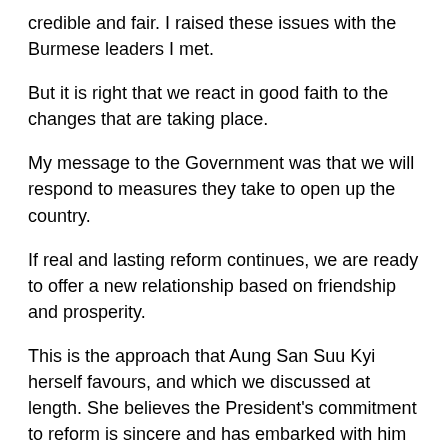credible and fair. I raised these issues with the Burmese leaders I met.
But it is right that we react in good faith to the changes that are taking place.
My message to the Government was that we will respond to measures they take to open up the country.
If real and lasting reform continues, we are ready to offer a new relationship based on friendship and prosperity.
This is the approach that Aung San Suu Kyi herself favours, and which we discussed at length. She believes the President's commitment to reform is sincere and has embarked with him on a dialogue to bring about change. Her commitment to her people is beyond question, and I believe it is right to back her judgement.
Britain is the biggest bilateral aid donor to Burma. During the visit I announced funding for microfinance initiatives to help up to 55,000 more people, and additional support in food, nutrition, shelter, water and sanitation to 13,000 people displaced by conflict in Kachin State, as a sign of our